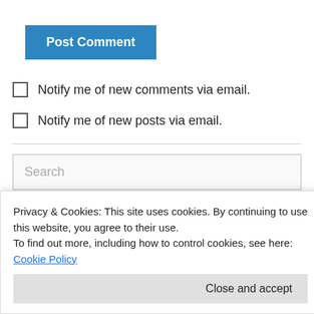[Figure (screenshot): Blue 'Post Comment' button]
Notify me of new comments via email.
Notify me of new posts via email.
Search
Copyright Note
Privacy & Cookies: This site uses cookies. By continuing to use this website, you agree to their use.
To find out more, including how to control cookies, see here: Cookie Policy
Close and accept